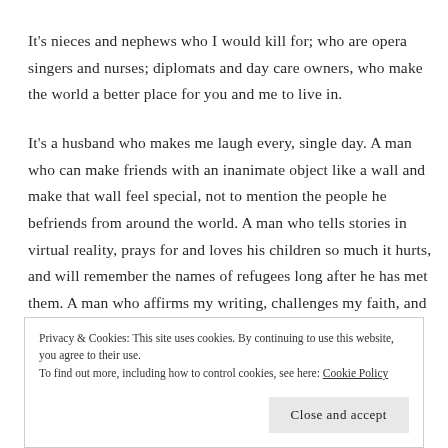It's nieces and nephews who I would kill for; who are opera singers and nurses; diplomats and day care owners, who make the world a better place for you and me to live in.
It's a husband who makes me laugh every, single day. A man who can make friends with an inanimate object like a wall and make that wall feel special, not to mention the people he befriends from around the world. A man who tells stories in virtual reality, prays for and loves his children so much it hurts, and will remember the names of refugees long after he has met them. A man who affirms my writing, challenges my faith, and prays with me every night.
Privacy & Cookies: This site uses cookies. By continuing to use this website, you agree to their use. To find out more, including how to control cookies, see here: Cookie Policy